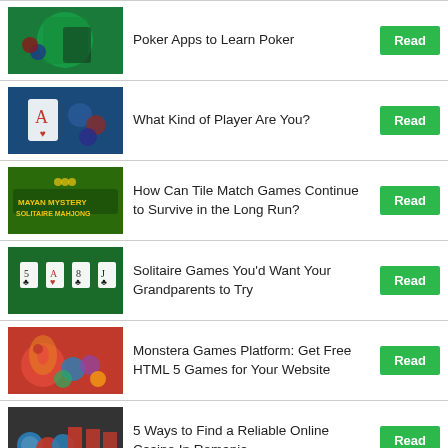Poker Apps to Learn Poker
What Kind of Player Are You?
How Can Tile Match Games Continue to Survive in the Long Run?
Solitaire Games You'd Want Your Grandparents to Try
Monstera Games Platform: Get Free HTML 5 Games for Your Website
5 Ways to Find a Reliable Online Casino In Romania
(partial row)